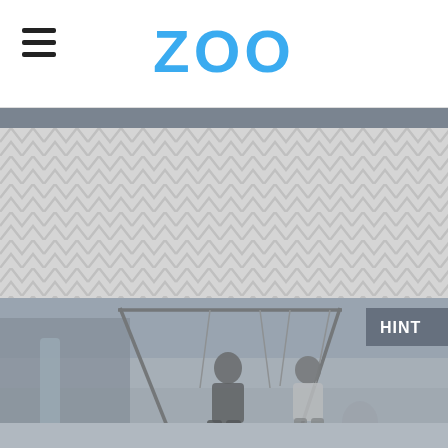ZOO
[Figure (photo): Black and white photo of two young people sitting on a swing set in a backyard, with trees and a shed in the background. A 'HINT' badge is in the top-right corner.]
Fox 2000 Pictures / Temple Hill Entertainment / TSG Entertainment